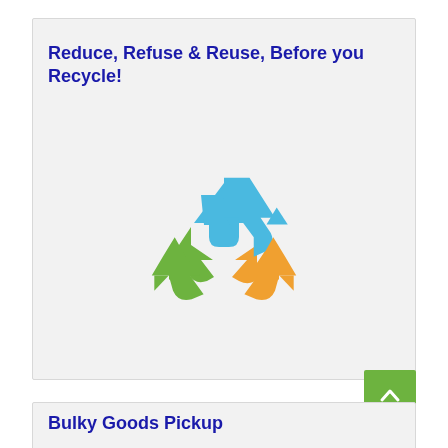Reduce, Refuse & Reuse, Before you Recycle!
[Figure (illustration): Three-arrow recycling symbol with blue (top), orange (right), and green (left/bottom) arrows forming a triangle cycle.]
Bulky Goods Pickup